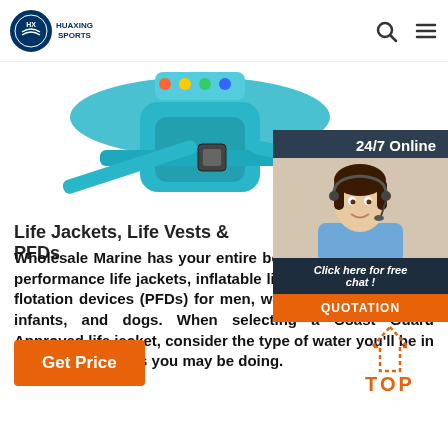HUAXING SPORTS
[Figure (photo): Blue life jacket/flotation device with straps and buckle on white background]
[Figure (photo): 24/7 Online chat overlay with female customer service agent wearing headset, Click here for free chat!, and QUOTATION button]
Life Jackets, Life Vests & PFDs
Wholesale Marine has your entire boat covered with high-performance life jackets, inflatable life vests, and personal flotation devices (PFDs) for men, women, teens, children, infants, and dogs. When selecting a Coast Guard Approved life jacket, consider the type of water you'll be in and what activities you may be doing.
Get Price
[Figure (illustration): Orange TOP arrow button with dotted upward arrow icon]